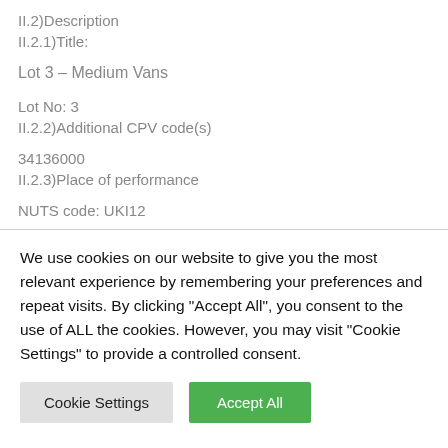II.2)Description
II.2.1)Title:
Lot 3 – Medium Vans
Lot No: 3
II.2.2)Additional CPV code(s)
34136000
II.2.3)Place of performance
NUTS code: UKI12
We use cookies on our website to give you the most relevant experience by remembering your preferences and repeat visits. By clicking "Accept All", you consent to the use of ALL the cookies. However, you may visit "Cookie Settings" to provide a controlled consent.